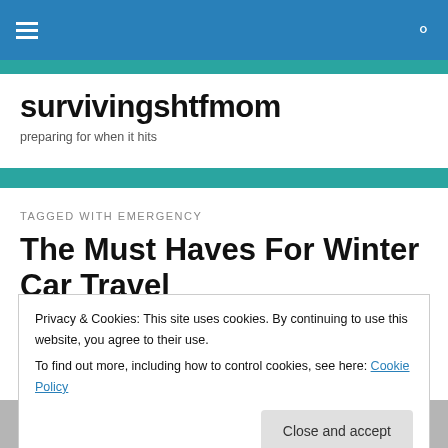survivingshtfmom — preparing for when it hits
TAGGED WITH EMERGENCY
The Must Haves For Winter Car Travel
Privacy & Cookies: This site uses cookies. By continuing to use this website, you agree to their use.
To find out more, including how to control cookies, see here: Cookie Policy
Close and accept